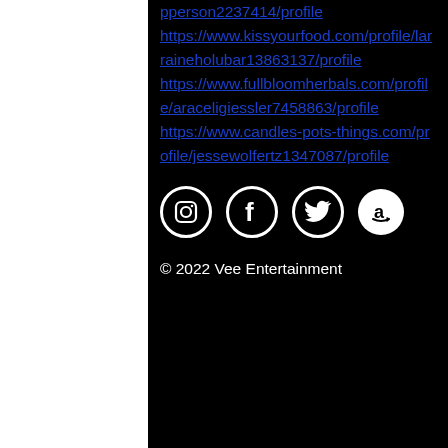pperson2237414/profile https://www.kissyourfood.com/profile/larraineholubar13863137/profile https://www.fullbloomherbals.com/profile/araceligiessler7458863/profile https://www.candles-pots-things.com/profile/jessewolfertz1347087/profile
[Figure (infographic): Social media icons row: Instagram (circle outline), Facebook (f), Twitter (bird), Amazon (a in filled circle)]
© 2022 Vee Entertainment